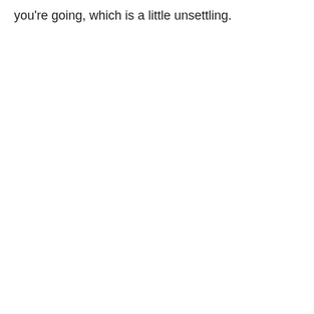you're going, which is a little unsettling.